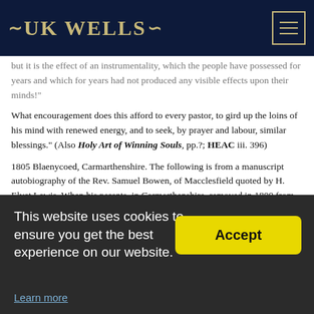UK WELLS
but it is the effect of an instrumentality, which the people have possessed for years and which for years had not produced any visible effects upon their minds!"
What encouragement does this afford to every pastor, to gird up the loins of his mind with renewed energy, and to seek, by prayer and labour, similar blessings." (Also Holy Art of Winning Souls, pp.?; HEAC iii. 396)
1805 Blaenycoed, Carmarthenshire. The following is from a manuscript autobiography of the Rev. Samuel Bowen, of Macclesfield quoted by H. Elvet Lewis. When his parents, in Carmarthenshire, removed in 1800 from the neighbourhood of Capel Iwan to the parish of Conwil Elvet, there was "hardly one Independent professor of religion in the whole neighbourhood for miles round." They greatly missed their church associations, and the constant ministrations of their pastor the Rev. Morgan Jones, of Trelech. Mr. Bowen proceeds:
"[…]urse of that winter my father hired an old barn at Blaenycoed (being a li…
This website uses cookies to ensure you get the best experience on our website. Learn more